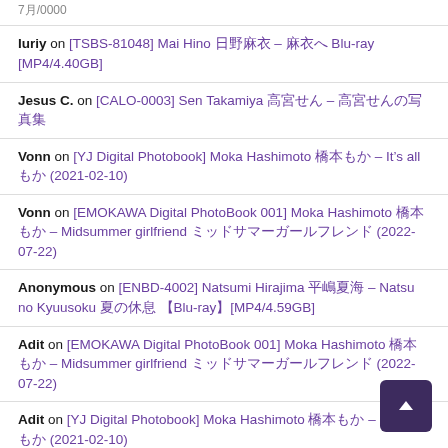7月/0000
Iuriy on [TSBS-81048] Mai Hino 日野麻衣 – 麻衣へ Blu-ray [MP4/4.40GB]
Jesus C. on [CALO-0003] Sen Takamiya 高宮せん – 高宮せんの写真集
Vonn on [YJ Digital Photobook] Moka Hashimoto 橋本もか – It's all もか (2021-02-10)
Vonn on [EMOKAWA Digital PhotoBook 001] Moka Hashimoto 橋本もか – Midsummer girlfriend ミッドサマーガールフレンド (2022-07-22)
Anonymous on [ENBD-4002] Natsumi Hirajima 平嶋夏海 – Natsu no Kyuusoku 夏の休息 【Blu-ray】[MP4/4.59GB]
Adit on [EMOKAWA Digital PhotoBook 001] Moka Hashimoto 橋本もか – Midsummer girlfriend ミッドサマーガールフレンド (2022-07-22)
Adit on [YJ Digital Photobook] Moka Hashimoto 橋本もか – It's all もか (2021-02-10)